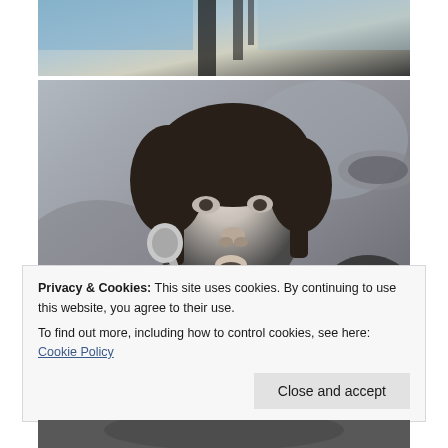[Figure (photo): Partial top photo showing a blurred colorful background with dark shapes, cropped at top]
[Figure (photo): Black and white photograph of a young man with a bowl cut singing into a microphone and playing guitar, likely George Harrison of The Beatles]
Privacy & Cookies: This site uses cookies. By continuing to use this website, you agree to their use.
To find out more, including how to control cookies, see here: Cookie Policy
Close and accept
[Figure (photo): Bottom partial photo, dark tones, partially visible]